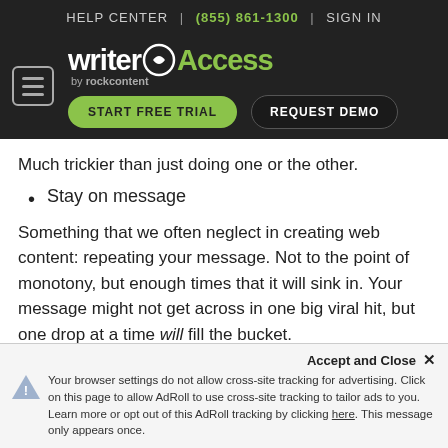HELP CENTER | (855) 861-1300 | SIGN IN
[Figure (logo): WriterAccess by rockcontent logo with hamburger menu, START FREE TRIAL and REQUEST DEMO buttons]
Much trickier than just doing one or the other.
Stay on message
Something that we often neglect in creating web content: repeating your message. Not to the point of monotony, but enough times that it will sink in. Your message might not get across in one big viral hit, but one drop at a time will fill the bucket.
Bio: ... is a writer and artist fa...
Accept and Close ×
Your browser settings do not allow cross-site tracking for advertising. Click on this page to allow AdRoll to use cross-site tracking to tailor ads to you. Learn more or opt out of this AdRoll tracking by clicking here. This message only appears once.